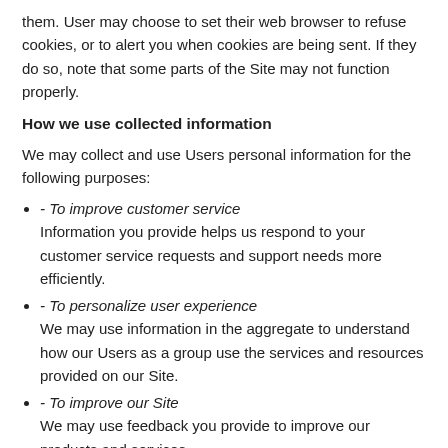them. User may choose to set their web browser to refuse cookies, or to alert you when cookies are being sent. If they do so, note that some parts of the Site may not function properly.
How we use collected information
We may collect and use Users personal information for the following purposes:
- To improve customer service
Information you provide helps us respond to your customer service requests and support needs more efficiently.
- To personalize user experience
We may use information in the aggregate to understand how our Users as a group use the services and resources provided on our Site.
- To improve our Site
We may use feedback you provide to improve our products and services.
- To process payments
We may use the information Users provide about